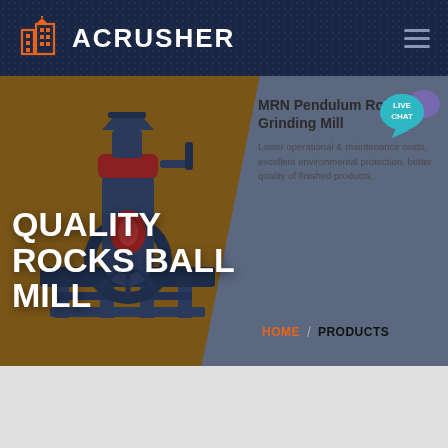ACRUSHER
QUALITY ROCKS BALL MILL
MRN Pendulum Roller Grinding Mill
Lower operational & maintenance costs, excellent environmental protection, better quality of finished products.
[Figure (screenshot): Industrial grinding mill machinery in dark blue-grey color on brown background]
[Figure (logo): ACRUSHER logo with orange building icon and white text on dark navy background]
HOME / PRODUCTS